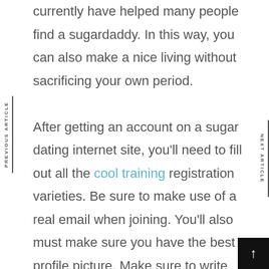currently have helped many people find a sugardaddy. In this way, you can also make a nice living without sacrificing your own period.

After getting an account on a sugar dating internet site, you'll need to fill out all the cool training registration varieties. Be sure to make use of a real email when joining. You'll also must make sure you have the best profile picture. Make sure to write interesting descriptions. In short, you need to stand above a populated sugar baby f
PREVIOUS ARTICLE
NEXT ARTICLE